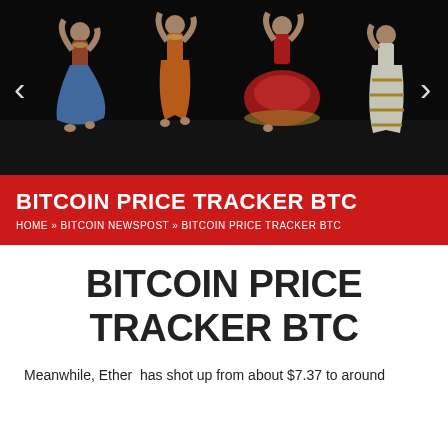[Figure (photo): Banner photo of four Indian classical dancers in colorful costumes performing on a dark stage, with left and right navigation arrows overlaid]
BITCOIN PRICE TRACKER BTC
HOME » BITCOIN NEWSPOST » BITCOIN PRICE TRACKER BTC
BITCOIN PRICE TRACKER BTC
Meanwhile, Ether has shot up from about $7.37 to around